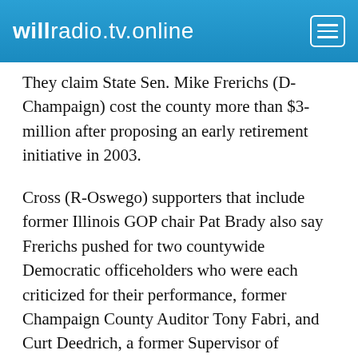willradio.tv.online
They claim State Sen. Mike Frerichs (D-Champaign) cost the county more than $3-million after proposing an early retirement initiative in 2003.
Cross (R-Oswego) supporters that include former Illinois GOP chair Pat Brady also say Frerichs pushed for two countywide Democratic officeholders who were each criticized for their performance, former Champaign County Auditor Tony Fabri, and Curt Deedrich, a former Supervisor of Assessments.
“If he becomes Illinois treasurer, it’s going to be politics as usual, it’s going to be patronage above public service, and the people that ended up paying